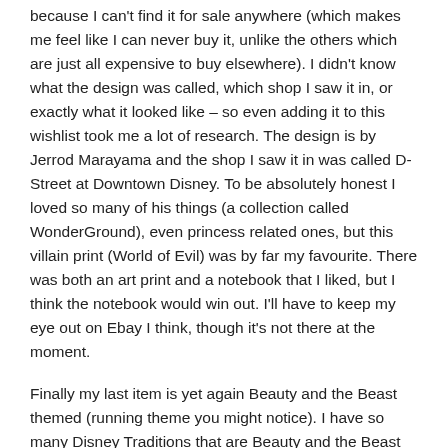because I can't find it for sale anywhere (which makes me feel like I can never buy it, unlike the others which are just all expensive to buy elsewhere). I didn't know what the design was called, which shop I saw it in, or exactly what it looked like – so even adding it to this wishlist took me a lot of research. The design is by Jerrod Marayama and the shop I saw it in was called D-Street at Downtown Disney. To be absolutely honest I loved so many of his things (a collection called WonderGround), even princess related ones, but this villain print (World of Evil) was by far my favourite. There was both an art print and a notebook that I liked, but I think the notebook would win out. I'll have to keep my eye out on Ebay I think, though it's not there at the moment.
Finally my last item is yet again Beauty and the Beast themed (running theme you might notice). I have so many Disney Traditions that are Beauty and the Beast and this is one of the few I don't have. I do however love loads of Disney Traditions ornaments so I wouldn't be fussy of which I got. This particular ornament just represents my love of them all, though it would be great to have this one too as its another step closer to owning all the Beauty and the Beast ones!
A complete (and constantly added to) wishlist of all the things I currently